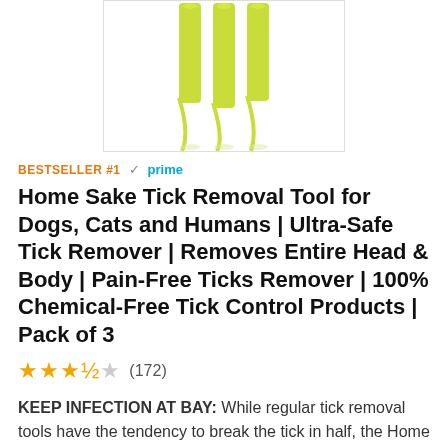[Figure (photo): Yellow-green tick removal tools (pack of 3) shown from above on white background, partially cropped]
BESTSELLER #1  ✓prime
Home Sake Tick Removal Tool for Dogs, Cats and Humans | Ultra-Safe Tick Remover | Removes Entire Head & Body | Pain-Free Ticks Remover | 100% Chemical-Free Tick Control Products | Pack of 3
★★★½☆ (172)
KEEP INFECTION AT BAY: While regular tick removal tools have the tendency to break the tick in half, the Home Sake tick twister tick remover is specially designed to remove the entire tick- head and all. This